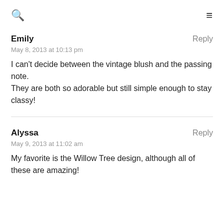🔍  ≡
Emily
Reply
May 8, 2013 at 10:13 pm

I can't decide between the vintage blush and the passing note.
They are both so adorable but still simple enough to stay classy!
Alyssa
Reply
May 9, 2013 at 11:02 am

My favorite is the Willow Tree design, although all of these are amazing!